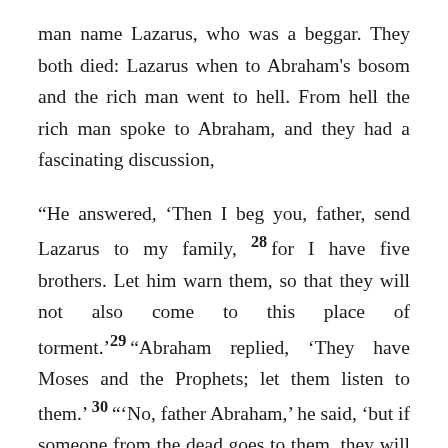man name Lazarus, who was a beggar. They both died: Lazarus when to Abraham's bosom and the rich man went to hell. From hell the rich man spoke to Abraham, and they had a fascinating discussion,
"He answered, 'Then I beg you, father, send Lazarus to my family, 28 for I have five brothers. Let him warn them, so that they will not also come to this place of torment.' 29 "Abraham replied, 'They have Moses and the Prophets; let them listen to them.' 30 "'No, father Abraham,' he said, 'but if someone from the dead goes to them, they will repent.' 31 "He said to him, 'If they do not listen to Moses and the Prophets, they will not be persuaded even if someone rises'